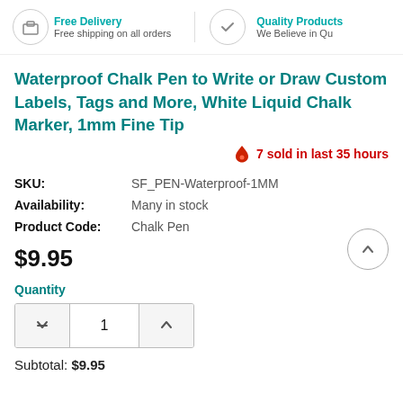Free Delivery — Free shipping on all orders | Quality Products — We Believe in Qu
Waterproof Chalk Pen to Write or Draw Custom Labels, Tags and More, White Liquid Chalk Marker, 1mm Fine Tip
7 sold in last 35 hours
SKU: SF_PEN-Waterproof-1MM
Availability: Many in stock
Product Code: Chalk Pen
$9.95
Quantity
1
Subtotal: $9.95